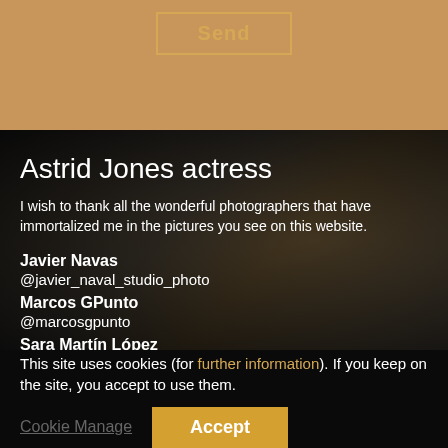Send
Astrid Jones actress
I wish to thank all the wonderful photographers that have immortalized me in the pictures you see on this website.
Javier Navas
@javier_naval_studio_photo
Marcos GPunto
@marcosgpunto
Sara Martín López
@sara_martin_lopez
This site uses cookies (for further information). If you keep on the site, you accept to use them.
Cookie Manage
Accept